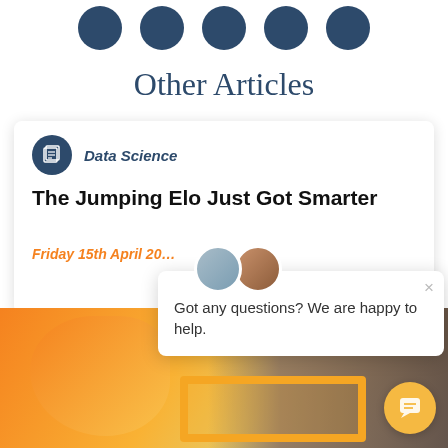[Figure (illustration): Row of five dark navy circular avatar/icon circles at top of page]
Other Articles
[Figure (screenshot): Article card for 'The Jumping Elo Just Got Smarter' in Data Science category, with a chat popup overlay showing two avatars and the text 'Got any questions? We are happy to help.' and a bottom image of a horse wearing glasses]
Data Science
The Jumping Elo Just Got Smarter
Friday 15th April 20
Got any questions? We are happy to help.